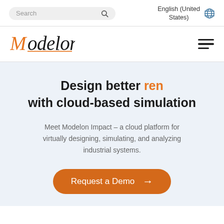Search | English (United States)
[Figure (logo): Modelon logo in orange and black script font]
Design better ren with cloud-based simulation
Meet Modelon Impact – a cloud platform for virtually designing, simulating, and analyzing industrial systems.
Request a Demo →